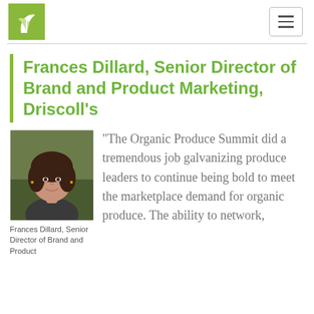Organic Produce Summit logo and navigation menu
Frances Dillard, Senior Director of Brand and Product Marketing, Driscoll's
[Figure (photo): Headshot photo of Frances Dillard, a woman with dark hair, smiling, outdoors background]
Frances Dillard, Senior Director of Brand and Product Marketing, Driscoll's
"The Organic Produce Summit did a tremendous job galvanizing produce leaders to continue being bold to meet the marketplace demand for organic produce. The ability to network,